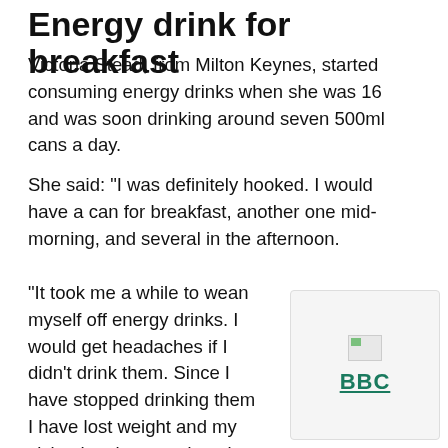Energy drink for breakfast
Victoria Stead, from Milton Keynes, started consuming energy drinks when she was 16 and was soon drinking around seven 500ml cans a day.
She said: "I was definitely hooked. I would have a can for breakfast, another one mid-morning, and several in the afternoon.
"It took me a while to wean myself off energy drinks. I would get headaches if I didn't drink them. Since I have stopped drinking them I have lost weight and my vision has improved again.
"Ironically, I also have more energy now and better."
[Figure (logo): BBC logo with broken image icon above it]
Norman Lamb, chair of the Commons Science and Technology Committee and a former Liberal Democrat